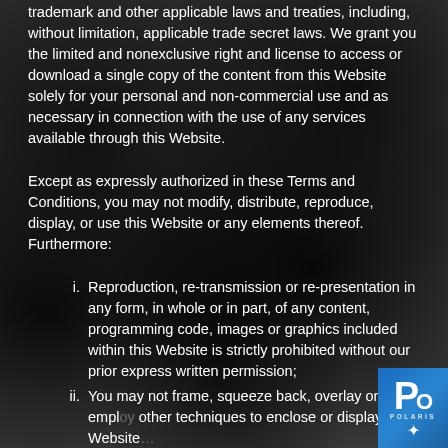trademark and other applicable laws and treaties, including, without limitation, applicable trade secret laws. We grant you the limited and nonexclusive right and license to access or download a single copy of the content from this Website solely for your personal and non-commercial use and as necessary in connection with the use of any services available through this Website.
Except as expressly authorized in these Terms and Conditions, you may not modify, distribute, reproduce, display, or use this Website or any elements thereof. Furthermore:
i. Reproduction, re-transmission or re-presentation in any form, in whole or in part, of any content, programming code, images or graphics included within this Website is strictly prohibited without our prior express written permission;
ii. You may not frame, squeeze back, overlay or employ other techniques to enclose or display this Website